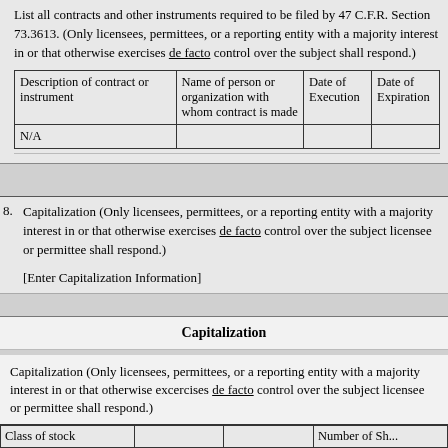List all contracts and other instruments required to be filed by 47 C.F.R. Section 73.3613. (Only licensees, permittees, or a reporting entity with a majority interest in or that otherwise exercises de facto control over the subject shall respond.)
| Description of contract or instrument | Name of person or organization with whom contract is made | Date of Execution | Date of Expiration |
| --- | --- | --- | --- |
| N/A |  |  |  |
8. Capitalization (Only licensees, permittees, or a reporting entity with a majority interest in or that otherwise exercises de facto control over the subject licensee or permittee shall respond.)

[Enter Capitalization Information]
Capitalization
Capitalization (Only licensees, permittees, or a reporting entity with a majority interest in or that otherwise excercises de facto control over the subject licensee or permittee shall respond.)
| Class of stock |  |  | Number of Sh... |
| --- | --- | --- | --- |